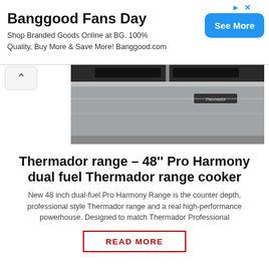[Figure (other): Banggood Fans Day advertisement banner with blue See More button]
[Figure (photo): Thermador 48 inch range cooker product photo showing stainless steel top view]
Thermador range – 48'' Pro Harmony dual fuel Thermador range cooker
New 48 inch dual-fuel Pro Harmony Range is the counter depth, professional style Thermador range and a real high-performance powerhouse. Designed to match Thermador Professional
READ MORE